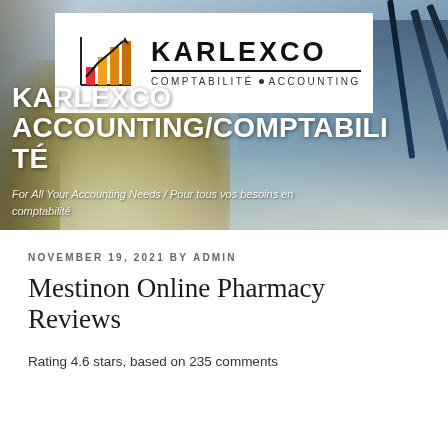[Figure (logo): Karlexco Accounting/Comptabilité logo with bar chart icon, white background, text KARLEXCO COMPTABILITÉ ▪ ACCOUNTING]
KARLEXCO ACCOUNTING/COMPTABILITÉ
For All Your Accounting Needs / Pour tous vos besoins en comptabilité
NOVEMBER 19, 2021 BY ADMIN
Mestinon Online Pharmacy Reviews
Rating 4.6 stars, based on 235 comments